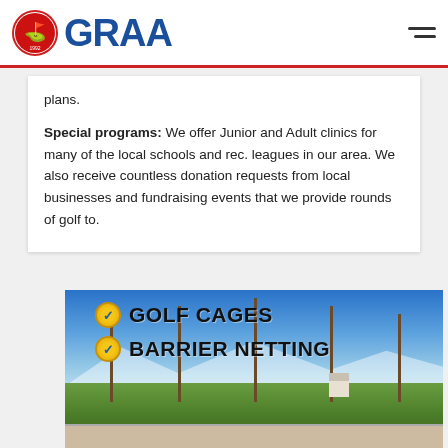GRAA
plans.
Special programs: We offer Junior and Adult clinics for many of the local schools and rec. leagues in our area. We also receive countless donation requests from local businesses and fundraising events that we provide rounds of golf to.
[Figure (photo): Advertisement image showing a golf driving range with tall netting poles and barrier netting. Text overlay reads: checkmark GOLF CAGES, checkmark BARRIER NETTING. Background shows blue sky, trees, and green grass with golf mats and equipment.]